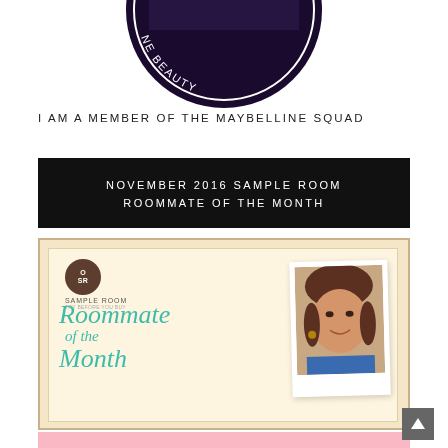[Figure (logo): Maybelline Beauty Blog circular logo/badge, partially cropped at top]
I AM A MEMBER OF THE MAYBELLINE SQUAD
[Figure (other): Black banner with white text: NOVEMBER 2016 SAMPLE ROOM ROOMMATE OF THE MONTH]
[Figure (other): Sample Room Roommate of the Month card with cream/yellow background, Sample Room logo, teal script text saying Roommate of the Month, and a polaroid-style photo of a woman]
[Figure (other): Pink bar at bottom, partially visible]